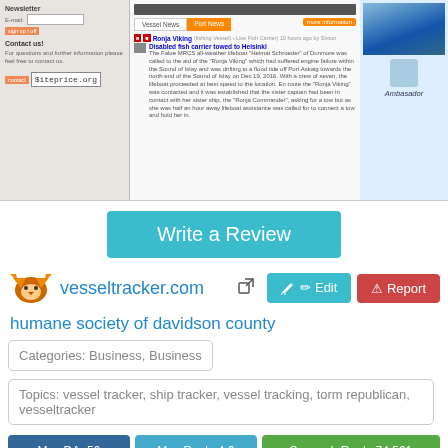[Figure (screenshot): Screenshot of vesseltracker.com website showing newsletter signup, vessel news, port news tabs, a news article about disabled fish carrier, and an Ambassador advertisement]
Write a Review
vesseltracker.com
humane society of davidson county
Categories: Business, Business
Topics: vessel tracker, ship tracker, vessel tracking, torm republican, vesseltracker
Moz DA: 56
Moz Rank: 4.6
Semrush Rank: 74,561
Facebook Likes: 136
Est. Website Worth: $ 67,200